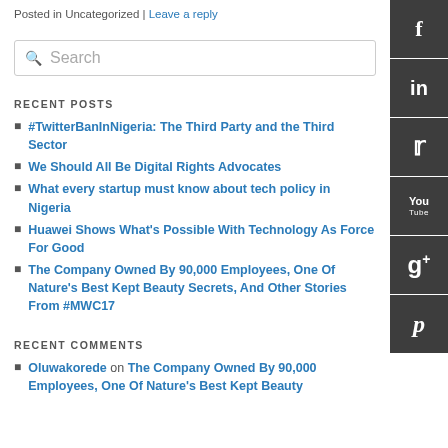Posted in Uncategorized | Leave a reply
Search
RECENT POSTS
#TwitterBanInNigeria: The Third Party and the Third Sector
We Should All Be Digital Rights Advocates
What every startup must know about tech policy in Nigeria
Huawei Shows What's Possible With Technology As Force For Good
The Company Owned By 90,000 Employees, One Of Nature's Best Kept Beauty Secrets, And Other Stories From #MWC17
RECENT COMMENTS
Oluwakorede on The Company Owned By 90,000 Employees, One Of Nature's Best Kept Beauty